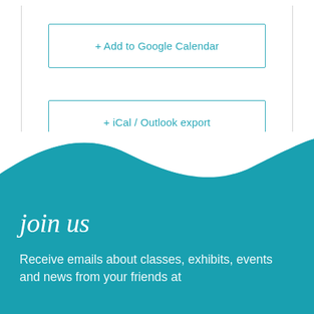+ Add to Google Calendar
+ iCal / Outlook export
[Figure (illustration): Teal wave shape separating white content area from teal footer section]
join us
Receive emails about classes, exhibits, events and news from your friends at